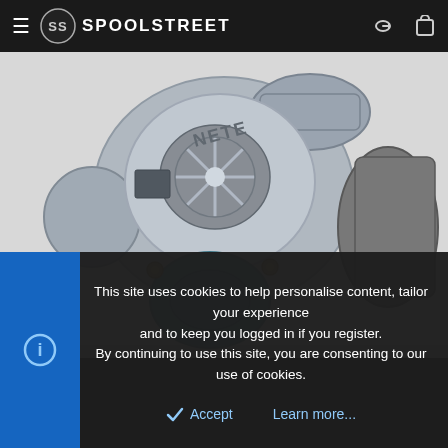SPOOLSTREET
[Figure (photo): Close-up photo of a turbocharger unit showing the compressor wheel, turbine housing, and wastegate actuator on a white background. The turbocharger appears to be a GT-style unit with metallic silver/chrome finish and brass/gold colored bolts.]
This site uses cookies to help personalise content, tailor your experience and to keep you logged in if you register. By continuing to use this site, you are consenting to our use of cookies.
Accept   Learn more...